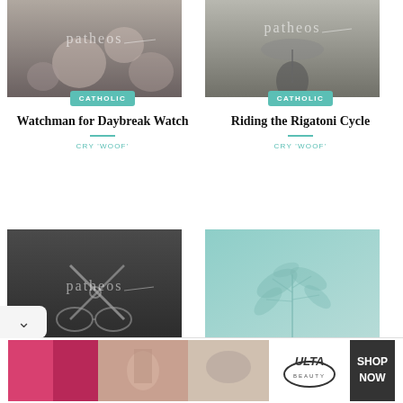[Figure (photo): Patheos Catholic blog thumbnail - blurry flowers, dark toned]
[Figure (photo): Patheos Catholic blog thumbnail - person with umbrella, black and white]
Watchman for Daybreak Watch
CRY 'WOOF'
Riding the Rigatoni Cycle
CRY 'WOOF'
[Figure (photo): Patheos blog thumbnail - scissors and eyeglasses on dark background]
[Figure (photo): Teal/green botanical photo]
[Figure (photo): Ulta Beauty advertisement banner]